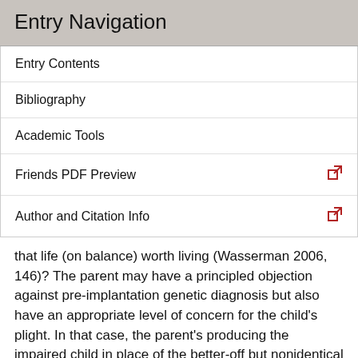Entry Navigation
Entry Contents
Bibliography
Academic Tools
Friends PDF Preview
Author and Citation Info
that life (on balance) worth living (Wasserman 2006, 146)? The parent may have a principled objection against pre-implantation genetic diagnosis but also have an appropriate level of concern for the child's plight. In that case, the parent's producing the impaired child in place of the better-off but nonidentical child does not wrong the impaired child. On the other hand, if a parent fails to undergo genetic testing out of laziness and never considers the challenges that the child will have to face as a result of being born impaired, then what the parent has done is wrong. Thus, on this view, the act's permissibility